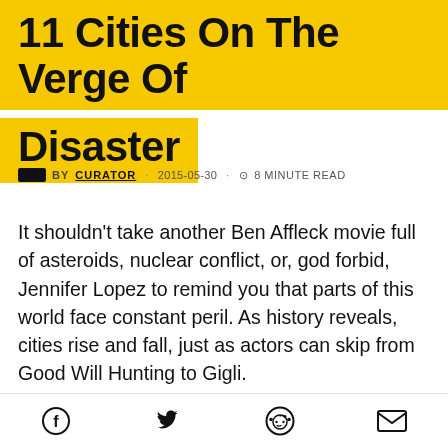11 Cities On The Verge Of Disaster
BY CURATOR · 2015-05-30 · ⊙ 8 MINUTE READ
It shouldn't take another Ben Affleck movie full of asteroids, nuclear conflict, or, god forbid, Jennifer Lopez to remind you that parts of this world face constant peril. As history reveals, cities rise and fall, just as actors can skip from Good Will Hunting to Gigli.
But thanks to the rapid pace of climate change and
Facebook Twitter Reddit Email